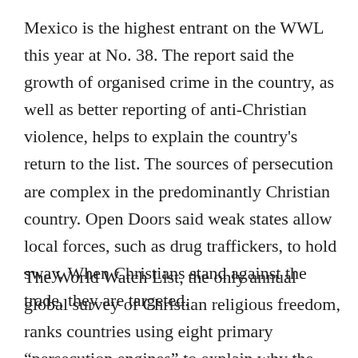Mexico is the highest entrant on the WWL this year at No. 38. The report said the growth of organised crime in the country, as well as better reporting of anti-Christian violence, helps to explain the country's return to the list. The sources of persecution are complex in the predominantly Christian country. Open Doors said weak states allow local forces, such as drug traffickers, to hold sway. When Christians stand against the trade, they are targeted.
The World Watch List, the only annual global survey of Christian religious freedom, ranks countries using eight primary “persecution engines” to explain why the Christian community becomes